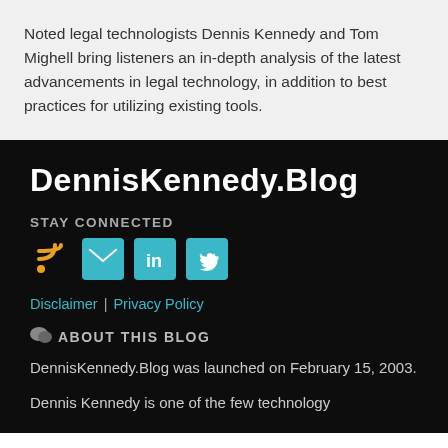Noted legal technologists Dennis Kennedy and Tom Mighell bring listeners an in-depth analysis of the latest advancements in legal technology, in addition to best practices for utilizing existing tools.
DennisKennedy.Blog
STAY CONNECTED
[Figure (infographic): Row of social media icons: RSS (orange), Email (teal envelope), LinkedIn (teal in box), Twitter (teal bird)]
Disclaimer | Privacy Policy
ABOUT THIS BLOG
DennisKennedy.Blog was launched on February 15, 2003.
Dennis Kennedy is one of the few technology